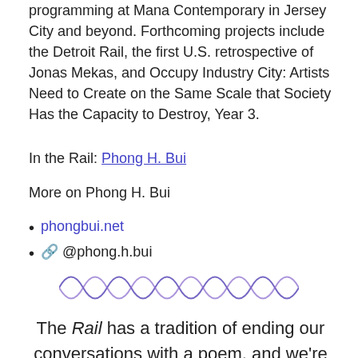programming at Mana Contemporary in Jersey City and beyond. Forthcoming projects include the Detroit Rail, the first U.S. retrospective of Jonas Mekas, and Occupy Industry City: Artists Need to Create on the Same Scale that Society Has the Capacity to Destroy, Year 3.
In the Rail: Phong H. Bui
More on Phong H. Bui
phongbui.net
🔗 @phong.h.bui
[Figure (illustration): Decorative wavy/sinusoidal squiggle line in purple/violet color, used as a section divider.]
The Rail has a tradition of ending our conversations with a poem, and we're